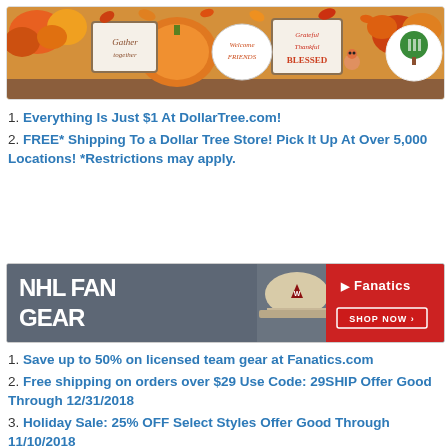[Figure (photo): Dollar Tree promotional banner showing autumn/fall themed decorations on a shelf with pumpkins, flowers, leaves, and harvest signs. Dollar Tree logo (green tree) visible in top right.]
1. Everything Is Just $1 At DollarTree.com!
2. FREE* Shipping To a Dollar Tree Store! Pick It Up At Over 5,000 Locations! *Restrictions may apply.
[Figure (photo): Fanatics NHL Fan Gear promotional banner showing hockey jerseys and caps with NHL team logos. Red 'SHOP NOW' button and Fanatics logo on right side.]
1. Save up to 50% on licensed team gear at Fanatics.com
2. Free shipping on orders over $29 Use Code: 29SHIP Offer Good Through 12/31/2018
3. Holiday Sale: 25% OFF Select Styles Offer Good Through 11/10/2018